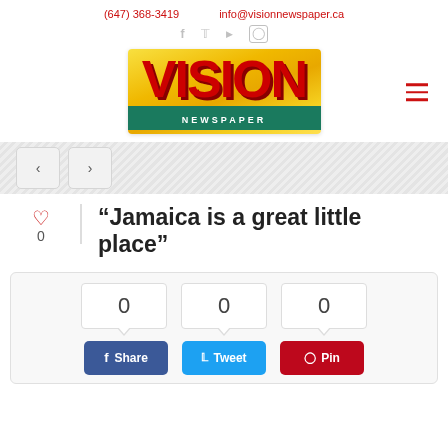(647) 368-3419    info@visionnewspaper.ca
[Figure (logo): Vision Newspaper logo — yellow/gold gradient background with large red bold VISION text and green bar below with white NEWSPAPER text]
[Figure (infographic): Navigation slider with left < and right > arrow buttons on diagonal striped background]
“Jamaica is a great little place”
[Figure (infographic): Social share widget showing 0 share counts for Facebook, Twitter, and Pinterest, with Share, Tweet, and Pin buttons below]